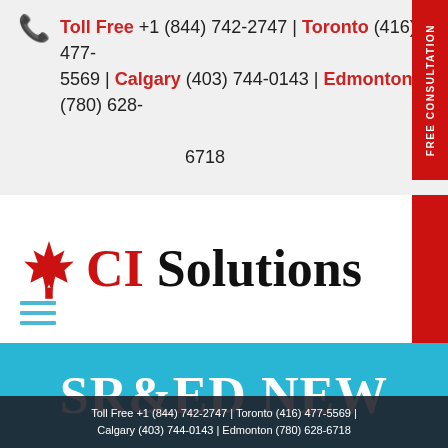Toll Free +1 (844) 742-2747 | Toronto (416) 477-5569 | Calgary (403) 744-0143 | Edmonton (780) 628-6718
[Figure (logo): CI Solutions logo with red maple leaf and bold text 'CI Solutions']
SR&ED NEW BRUNSWICK – SR&ED
Toll Free +1 (844) 742-2747 | Toronto (416) 477-5569 | Calgary (403) 744-0143 | Edmonton (780) 628-6718